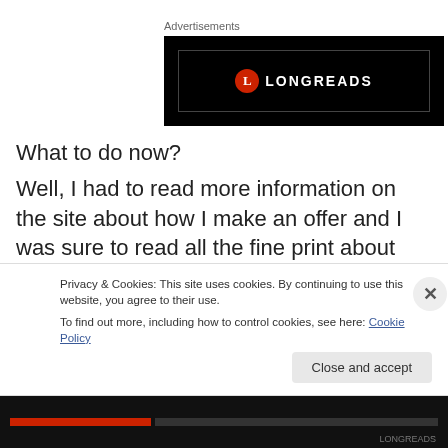Advertisements
[Figure (illustration): Black banner advertisement for Longreads with red circle logo containing letter L and white text LONGREADS]
What to do now?
Well, I had to read more information on the site about how I make an offer and I was sure to read all the fine print about making an audio book with ACX. I decided I would
Privacy & Cookies: This site uses cookies. By continuing to use this website, you agree to their use.
To find out more, including how to control cookies, see here: Cookie Policy
Close and accept